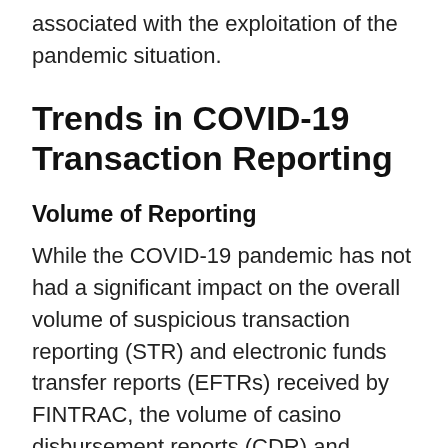associated with the exploitation of the pandemic situation.
Trends in COVID-19 Transaction Reporting
Volume of Reporting
While the COVID-19 pandemic has not had a significant impact on the overall volume of suspicious transaction reporting (STR) and electronic funds transfer reports (EFTRs) received by FINTRAC, the volume of casino disbursement reports (CDR) and